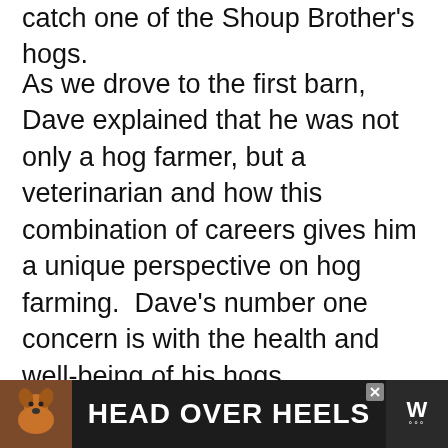catch one of the Shoup Brother's hogs.
As we drove to the first barn, Dave explained that he was not only a hog farmer, but a veterinarian and how this combination of careers gives him a unique perspective on hog farming.  Dave's number one concern is with the health and well-being of his hogs. Cleanliness and biosecurity are very important on a hog farm. Care is taken to ensure that antibiotics are used responsibly and only when absolutely necessary. Hormones are never used. Since pigs are sus... nd ge... and
[Figure (screenshot): Advertisement banner at the bottom of the page showing a dog and the text 'HEAD OVER HEELS' in bold white letters on a dark background, with a small close (X) button and a TV network logo.]